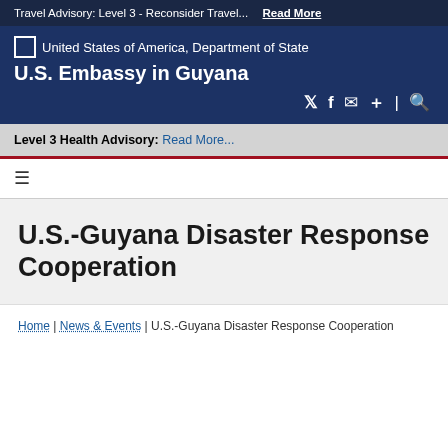Travel Advisory: Level 3 - Reconsider Travel...  Read More
[Figure (logo): United States of America, Department of State seal/logo placeholder box with text label]
U.S. Embassy in Guyana
Level 3 Health Advisory: Read More...
≡ (hamburger menu icon)
U.S.-Guyana Disaster Response Cooperation
Home | News & Events | U.S.-Guyana Disaster Response Cooperation